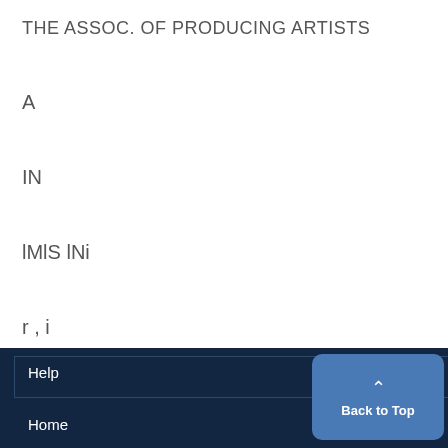THE ASSOC. OF PRODUCING ARTISTS
A
IN
lMlS lNi
r , i
Help
Home
Back to Top